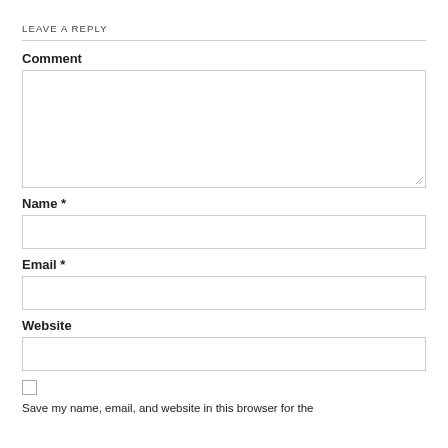LEAVE A REPLY
Comment
Name *
Email *
Website
Save my name, email, and website in this browser for the